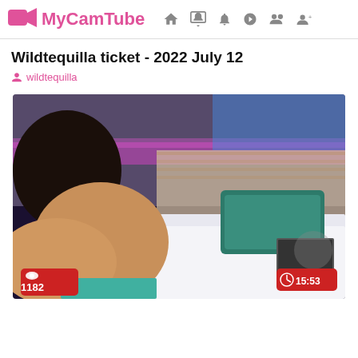MyCamTube
Wildtequilla ticket - 2022 July 12
wildtequilla
[Figure (photo): Webcam screenshot from a bedroom scene showing a person on a bed with colorful LED lighting in the background, a green pillow, and a laptop. Overlay badges show 1182 viewers and duration 15:53.]